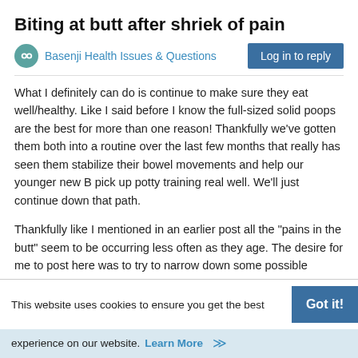Biting at butt after shriek of pain
Basenji Health Issues & Questions
What I definitely can do is continue to make sure they eat well/healthy. Like I said before I know the full-sized solid poops are the best for more than one reason! Thankfully we've gotten them both into a routine over the last few months that really has seen them stabilize their bowel movements and help our younger new B pick up potty training real well. We'll just continue down that path.
Thankfully like I mentioned in an earlier post all the "pains in the butt" seem to be occurring less often as they age. The desire for me to post here was to try to narrow down some possible causes.
Thanks for all the input!!!
0
This website uses cookies to ensure you get the best
experience on our website. Learn More